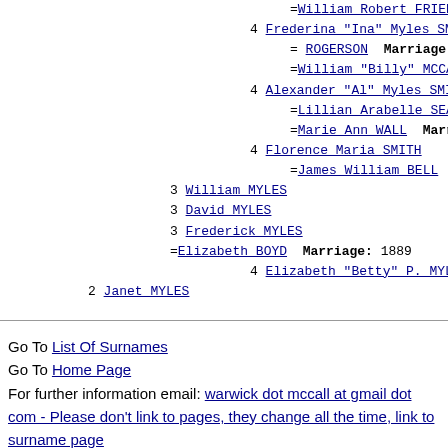=William Robert FRIEDRICH  Marr
4 Frederina "Ina" Myles SMITH
= ROGERSON  Marriage: Abt 1908,
=William "Billy" MCCALL  Marria
4 Alexander "Al" Myles SMITH
=Lillian Arabelle SEARS  Marria
=Marie Ann WALL  Marriage: 13 J
4 Florence Maria SMITH
=James William BELL  Marriage:
3 William MYLES
3 David MYLES
3 Frederick MYLES
=Elizabeth BOYD  Marriage: 1889
4 Elizabeth "Betty" P. MYLES
2 Janet MYLES
Go To List Of Surnames
Go To Home Page
For further information email: warwick dot mccall at gmail dot com - Please don't link to pages, they change all the time, link to surname page